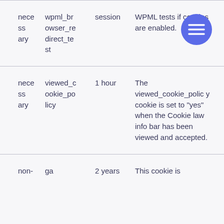| necessary | wpml_browser_redirect_test | session | WPML tests if cookies are enabled. |
| necessary | viewed_cookie_policy | 1 hour | The viewed_cookie_policy cookie is set to “yes” when the Cookie law info bar has been viewed and accepted. |
| non- | ga | 2 years | This cookie is |
[Figure (other): Blue circular hamburger menu button icon]